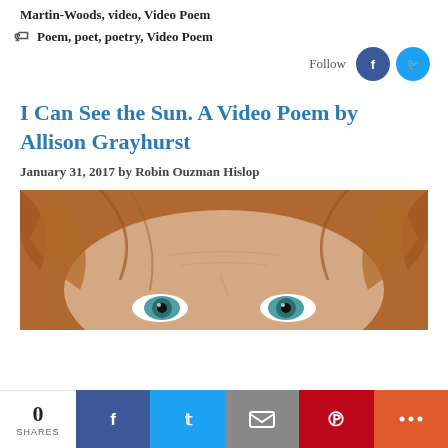Martin-Woods, video, Video Poem
Poem, poet, poetry, Video Poem
I Can See the Sun. A Video Poem by Allison Grayhurst
January 31, 2017 by Robin Ouzman Hislop
[Figure (photo): Close-up photo of a person with red/auburn hair and blue-green eyes, cropped to show forehead and eyes]
0 SHARES | Facebook share | Twitter share | Email share | Pinterest share | More